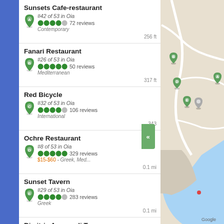[Figure (screenshot): TripAdvisor/Google Maps restaurant listing showing 6 restaurants in Oia, Santorini with map on the right side]
Sunsets Cafe-restaurant
#42 of 53 in Oia
72 reviews
Contemporary
256 ft
Fanari Restaurant
#26 of 53 in Oia
50 reviews
Mediterranean
317 ft
Red Bicycle
#32 of 53 in Oia
106 reviews
International
343
Ochre Restaurant
#8 of 53 in Oia
329 reviews
$15-$60 - Greek, Med...
0.1 mi
Sunset Tavern
#29 of 53 in Oia
283 reviews
Greek
0.1 mi
Dimitris Ammoudi Tav...
#157 of 460 in Santorini
148 reviews